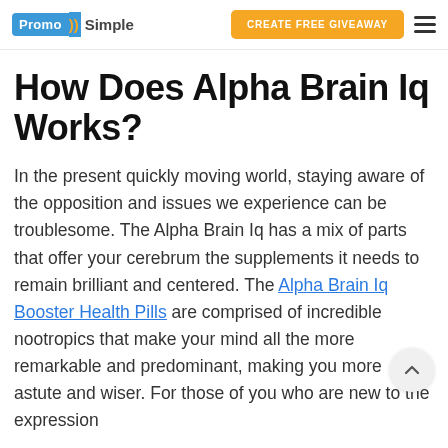PromoSimple | CREATE FREE GIVEAWAY
How Does Alpha Brain Iq Works?
In the present quickly moving world, staying aware of the opposition and issues we experience can be troublesome. The Alpha Brain Iq has a mix of parts that offer your cerebrum the supplements it needs to remain brilliant and centered. The Alpha Brain Iq Booster Health Pills are comprised of incredible nootropics that make your mind all the more remarkable and predominant, making you more astute and wiser. For those of you who are new to the expression